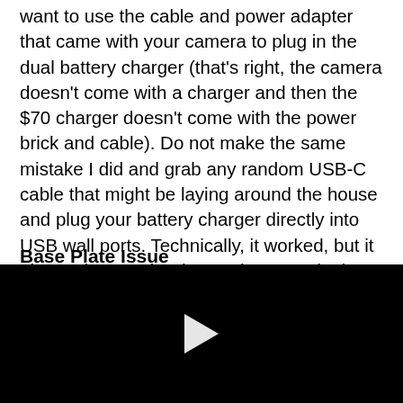want to use the cable and power adapter that came with your camera to plug in the dual battery charger (that's right, the camera doesn't come with a charger and then the $70 charger doesn't come with the power brick and cable). Do not make the same mistake I did and grab any random USB-C cable that might be laying around the house and plug your battery charger directly into USB wall ports. Technically, it worked, but it also took an entire day to charge a single battery.
Base Plate Issue
[Figure (screenshot): Black video player with a white play button triangle in the center]